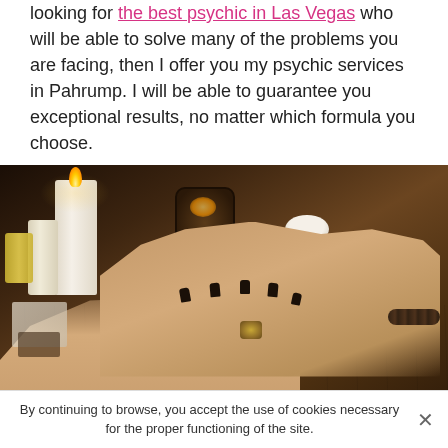looking for the best psychic in Las Vegas who will be able to solve many of the problems you are facing, then I offer you my psychic services in Pahrump. I will be able to guarantee you exceptional results, no matter which formula you choose.
[Figure (photo): A psychic reading scene: two pairs of hands on a wooden table, one with turquoise bead bracelet, one with dark bracelet and black painted nails reading the other's palm. Candles and a dark lantern in the background.]
By continuing to browse, you accept the use of cookies necessary for the proper functioning of the site.